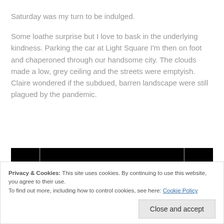Saturday was my turn to be indulged.
Some loathe surprise but I love to bask in the underlying kindness. Parking the car at Light Square I'm then on foot and chaperoned through our handsome city. The clouds made a low, grey ceiling and the streets were emptyish. Claire wondered if the subdued, barren landscape were still plagued by the pandemic.
[Figure (screenshot): Black banner with white text 'lately?' and a red 'Start reading' button]
Privacy & Cookies: This site uses cookies. By continuing to use this website, you agree to their use.
To find out more, including how to control cookies, see here: Cookie Policy
Close and accept